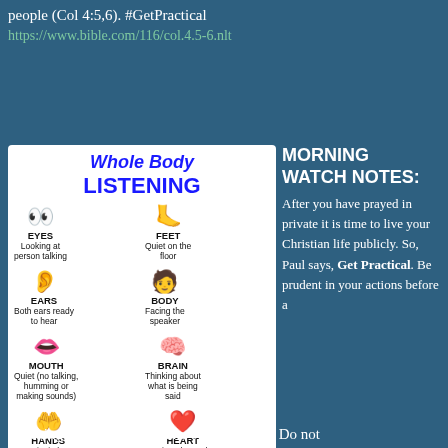people (Col 4:5,6). #GetPractical
https://www.bible.com/116/col.4.5-6.nlt
[Figure (illustration): Whole Body Listening infographic showing eyes, feet, ears, body, mouth, brain, hands, and heart with descriptions of how each contributes to listening]
MORNING WATCH NOTES:
After you have prayed in private it is time to live your Christian life publicly. So, Paul says, Get Practical. Be prudent in your actions before a watching world…for the sake of the Gospel. Do not